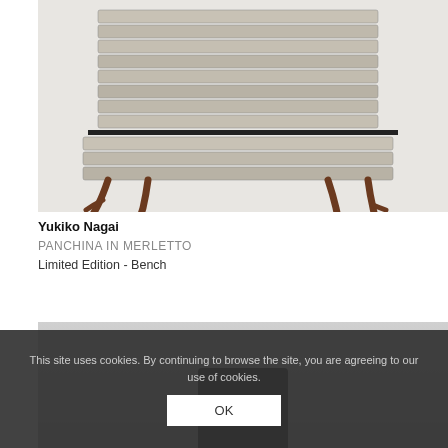[Figure (photo): A bench called Panchina in Merletto by Yukiko Nagai. The bench has a textured white/grey marbled or lace-like surface on the seat and back, supported by dark brown ornate branch-like legs. The item is photographed on a white background.]
Yukiko Nagai
PANCHINA IN MERLETTO
Limited Edition - Bench
[Figure (photo): Partially visible second product photo, showing a dark object against a light grey background, obscured by cookie consent overlay.]
This site uses cookies. By continuing to browse the site, you are agreeing to our use of cookies.
OK